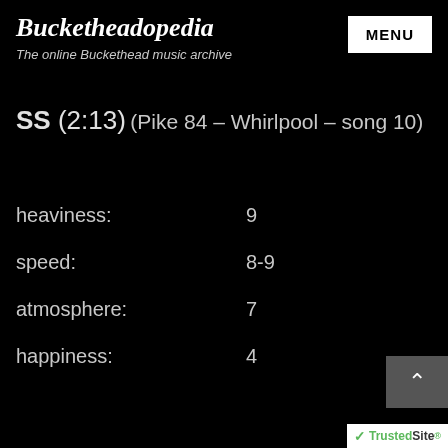Bucketheadopedia — The online Buckethead music archive
SS (2:13)
(Pike 84 – Whirlpool – song 10)
heaviness: 9
speed: 8-9
atmosphere: 7
happiness: 4